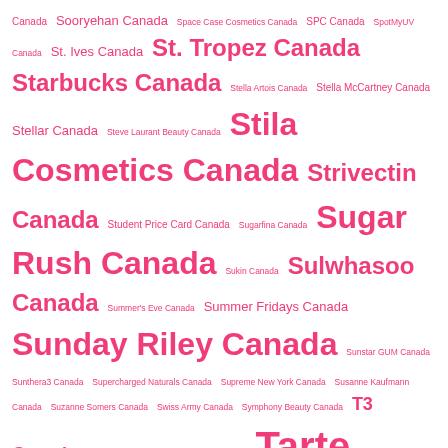Canada Sooryehan Canada Space Case Cosmetics Canada SPC Canada SpotMyUV Canada St. Ives Canada St. Tropez Canada Starbucks Canada Stella Artois Canada Stella McCartney Canada Stellar Canada Steve Laurant Beauty Canada Stila Cosmetics Canada Strivectin Canada Student Price Card Canada Sugarfina Canada Sugar Rush Canada Sukin Canada Sulwhasoo Canada Summer's Eve Canada Summer Fridays Canada Sunday Riley Canada Sunstar GUM Canada Sunthera3 Canada Supercharged Naturals Canada Supreme New York Canada Susanne Kaufmann Canada Suzanne Somers Canada Swiss Army Canada Symphony Beauty Canada T3 Canada Taco Bell Canada Tanit Botanics Canada Tarte Cosmetics Canada Tasty Rewards Canada Tata Harper Canada Tatcha Canada Tati Beauty Canada Tazo Canada Teaology Canada Teeez Cosmetics Canada Tetley Canada The Art of Makeup Canada The Art of Shaving Canada theBalm Cosmetics Canada The Body Shop Canada The Chemistry Brand Canada The Clinica